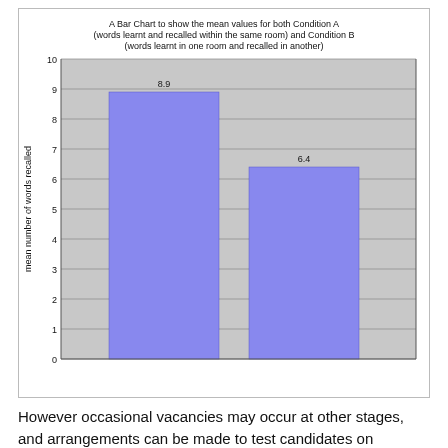[Figure (bar-chart): A Bar Chart to show the mean values for both Condition A (words learnt and recalled within the same room) and Condition B (words learnt in one room and recalled in another)]
However occasional vacancies may occur at other stages, and arrangements can be made to test candidates on